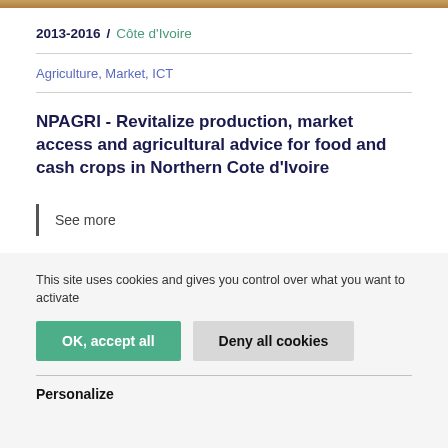2013-2016 / Côte d'Ivoire
Agriculture, Market, ICT
NPAGRI - Revitalize production, market access and agricultural advice for food and cash crops in Northern Cote d'Ivoire
See more
This site uses cookies and gives you control over what you want to activate
OK, accept all
Deny all cookies
Personalize